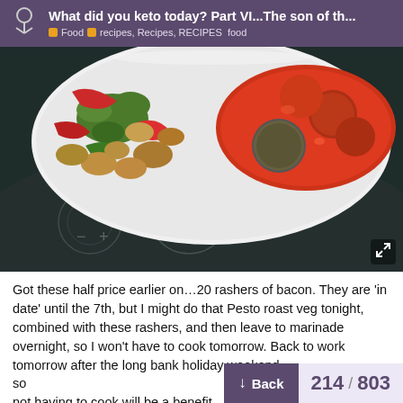What did you keto today? Part VI...The son of th... | Food | recipes, Recipes, RECIPES food
[Figure (photo): A white plate with roasted mixed vegetables (peppers, broccoli, mushrooms) and meatballs in tomato sauce, placed on a dark induction cooktop surface.]
Got these half price earlier on…20 rashers of bacon. They are 'in date' until the 7th, but I might do that Pesto roast veg tonight, combined with these rashers, and then leave to marinade overnight, so I won't have to cook tomorrow. Back to work tomorrow after the long bank holiday weekend, so not having to cook will be a benefit.
214 / 803